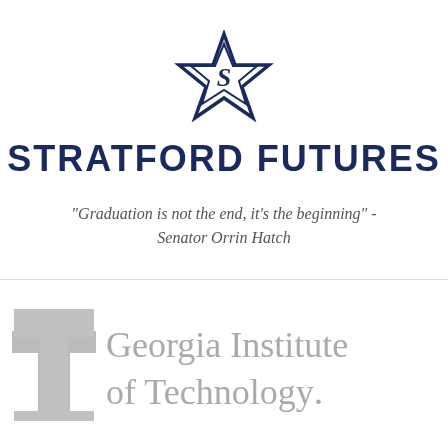[Figure (logo): Stratford Futures logo: a five-pointed star outline in navy blue with the letter S in the center]
STRATFORD FUTURES
"Graduation is not the end, it's the beginning" - Senator Orrin Hatch
[Figure (logo): Georgia Institute of Technology logo: a grey T-shaped symbol on the left and the text 'Georgia Institute of Technology' in grey serif font]